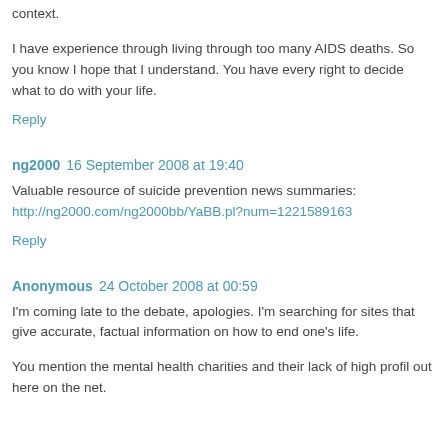context.
I have experience through living through too many AIDS deaths. So you know I hope that I understand. You have every right to decide what to do with your life.
Reply
ng2000  16 September 2008 at 19:40
Valuable resource of suicide prevention news summaries: http://ng2000.com/ng2000bb/YaBB.pl?num=1221589163
Reply
Anonymous  24 October 2008 at 00:59
I'm coming late to the debate, apologies. I'm searching for sites that give accurate, factual information on how to end one's life.
You mention the mental health charities and their lack of high profil out here on the net.